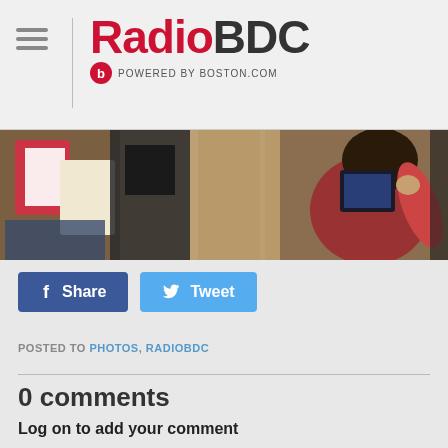RadioBDC — POWERED BY BOSTON.COM
[Figure (photo): Photo banner showing cards/books and a person in a red shirt, top-down view]
f Share   Tweet
POSTED TO PHOTOS, RADIOBDC
0 comments
Log on to add your comment
FACEBOOK   TWITTER   EMAIL